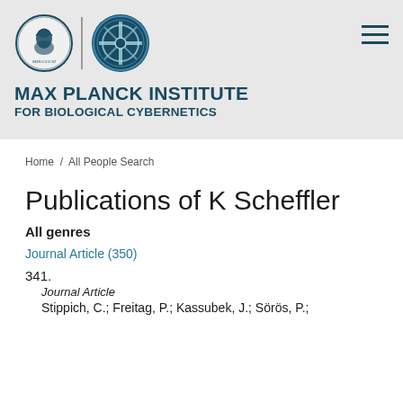[Figure (logo): Max Planck Institute for Biological Cybernetics logo with Minerva circle emblem and gear/cross emblem, plus hamburger menu icon]
MAX PLANCK INSTITUTE FOR BIOLOGICAL CYBERNETICS
Home / All People Search
Publications of K Scheffler
All genres
Journal Article (350)
341.
Journal Article
Stippich, C.; Freitag, P.; Kassubek, J.; Sörös, P.;